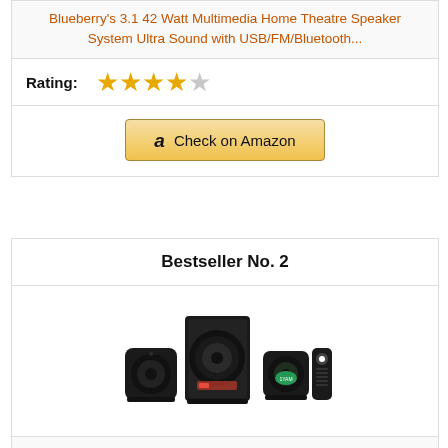Blueberry's 3.1 42 Watt Multimedia Home Theatre Speaker System Ultra Sound with USB/FM/Bluetooth...
Rating:
Check on Amazon
Bestseller No. 2
[Figure (photo): Black 2.1 multimedia home theatre speaker system with subwoofer, two satellite speakers, and a remote control]
Blueberry's 2.1 30 Watt Multimedia Home Theatre